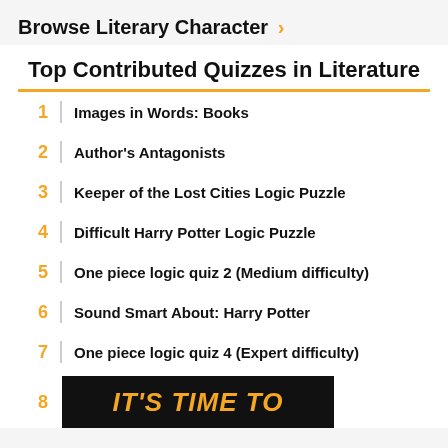Browse Literary Character >
Top Contributed Quizzes in Literature
1 Images in Words: Books
2 Author's Antagonists
3 Keeper of the Lost Cities Logic Puzzle
4 Difficult Harry Potter Logic Puzzle
5 One piece logic quiz 2 (Medium difficulty)
6 Sound Smart About: Harry Potter
7 One piece logic quiz 4 (Expert difficulty)
8
[Figure (infographic): Black banner advertisement with orange bold italic text reading IT'S TIME TO]